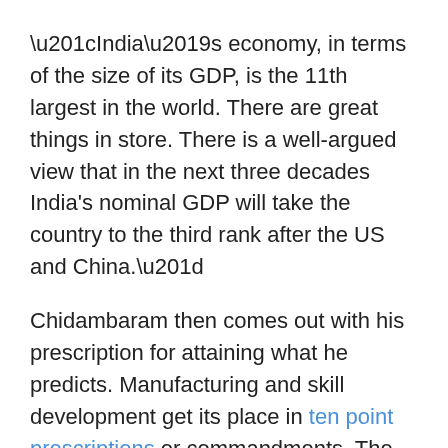“India’s economy, in terms of the size of its GDP, is the 11th largest in the world. There are great things in store. There is a well-argued view that in the next three decades India’s nominal GDP will take the country to the third rank after the US and China.”
Chidambaram then comes out with his prescription for attaining what he predicts. Manufacturing and skill development get its place in ten point prescriptions or commandments. The country would have been benefited if Chidambaram would have come out with such a guideline or road map for his government at the beginning of its wasted ten years in 2004, in his first budget speech.
“We therefore owe a responsibility not only to ourselves but to the whole world to keep our economy in robust health...